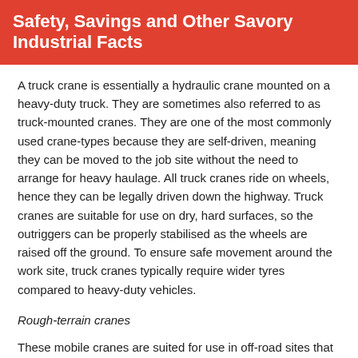Safety, Savings and Other Savory Industrial Facts
A truck crane is essentially a hydraulic crane mounted on a heavy-duty truck. They are sometimes also referred to as truck-mounted cranes. They are one of the most commonly used crane-types because they are self-driven, meaning they can be moved to the job site without the need to arrange for heavy haulage. All truck cranes ride on wheels, hence they can be legally driven down the highway. Truck cranes are suitable for use on dry, hard surfaces, so the outriggers can be properly stabilised as the wheels are raised off the ground. To ensure safe movement around the work site, truck cranes typically require wider tyres compared to heavy-duty vehicles.
Rough-terrain cranes
These mobile cranes are suited for use in off-road sites that may not be easy to get to using alternative cranes. Thanks to their powerful engines, high-torque steering mechanisms and